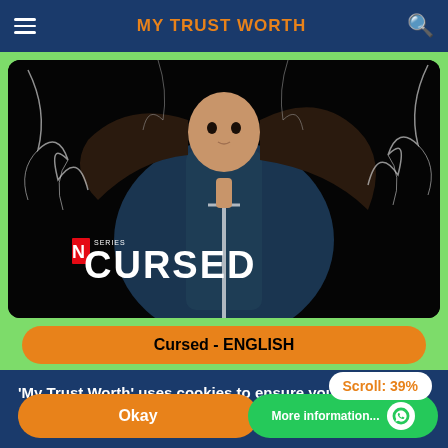MY TRUST WORTH
[Figure (screenshot): Netflix series 'Cursed' promotional poster showing a young woman with long dark hair holding a sword, surrounded by white tree branches on a dark background. Netflix logo and 'SERIES' text visible in bottom left, with large 'CURSED' title text.]
Cursed - ENGLISH
Scroll: 39%
'My Trust Worth' uses cookies to ensure you get the best experience on our website.
Okay
More information...